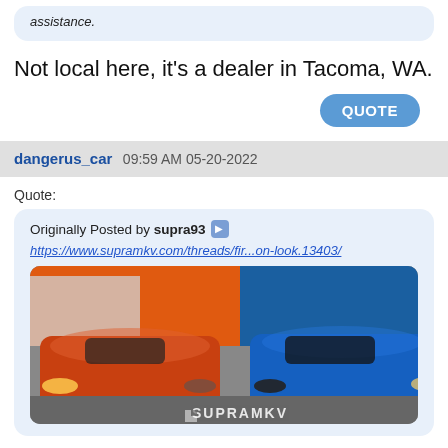assistance.
Not local here, it's a dealer in Tacoma, WA.
QUOTE
dangerus_car 09:59 AM 05-20-2022
Quote:
Originally Posted by supra93 https://www.supramkv.com/threads/fir...on-look.13403/
[Figure (photo): Photo of an orange Toyota Supra and a blue Nissan Z parked side by side at an automotive event with orange and blue tent structures in the background. A SupraMKV watermark is visible at the bottom.]